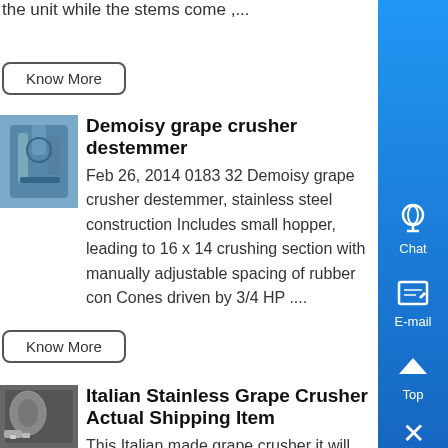the unit while the stems come ,...
Know More
[Figure (photo): Industrial grape crusher/destemmer machine outdoors]
Demoisy grape crusher destemmer
Feb 26, 2014 0183 32 Demoisy grape crusher destemmer, stainless steel construction Includes small hopper, leading to 16 x 14 crushing section with manually adjustable spacing of rubber con Cones driven by 3/4 HP ....
Know More
[Figure (photo): Italian stainless grape crusher machine with people nearby]
Italian Stainless Grape Crusher Actual Shipping Item
This Italian made grape crusher it will not crush harder fruit like pears and apples fits on top of a bin or bucket with